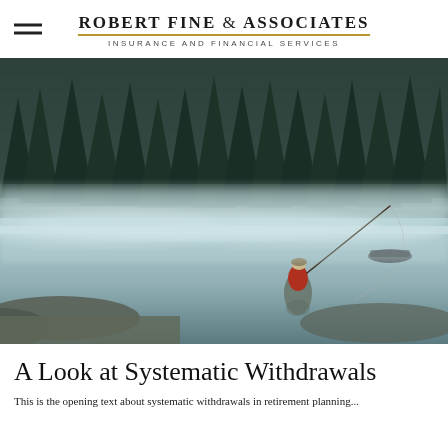Robert Fine & Associates — Insurance and Financial Services
[Figure (photo): A fly fisherman wearing red jacket and waders stands in a misty lake, casting a fishing rod. Dense evergreen forest in background, foggy atmospheric scene.]
A Look at Systematic Withdrawals
This is the opening paragraph text about systematic withdrawals...